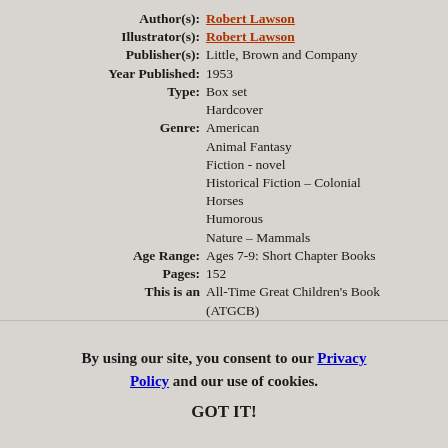Author(s): Robert Lawson
Illustrator(s): Robert Lawson
Publisher(s): Little, Brown and Company
Year Published: 1953
Type: Box set Hardcover
Genre: American Animal Fantasy Fiction - novel Historical Fiction – Colonial Horses Humorous Nature – Mammals
Age Range: Ages 7-9: Short Chapter Books
Pages: 152
This is an All-Time Great Children's Book (ATGCB)
LCCN: 52010952
By using our site, you consent to our Privacy Policy and our use of cookies.
GOT IT!